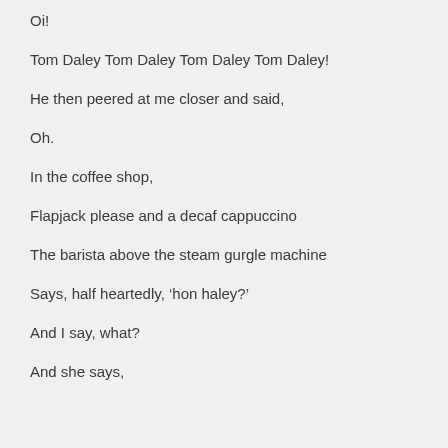Oi!
Tom Daley Tom Daley Tom Daley Tom Daley!
He then peered at me closer and said,
Oh.
In the coffee shop,
Flapjack please and a decaf cappuccino
The barista above the steam gurgle machine
Says, half heartedly, ‘hon haley?’
And I say, what?
And she says,